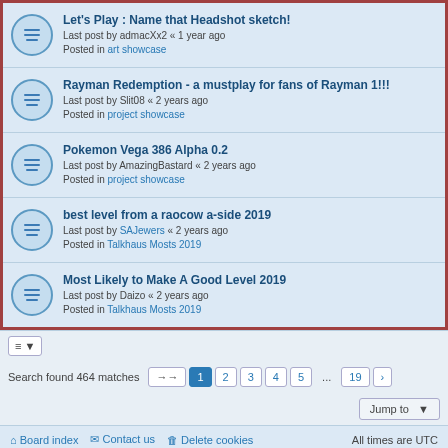Let's Play : Name that Headshot sketch! — Last post by admacXx2 « 1 year ago — Posted in art showcase
Rayman Redemption - a mustplay for fans of Rayman 1!!! — Last post by Slit08 « 2 years ago — Posted in project showcase
Pokemon Vega 386 Alpha 0.2 — Last post by AmazingBastard « 2 years ago — Posted in project showcase
best level from a raocow a-side 2019 — Last post by SAJewers « 2 years ago — Posted in Talkhaus Mosts 2019
Most Likely to Make A Good Level 2019 — Last post by Daizo « 2 years ago — Posted in Talkhaus Mosts 2019
Search found 464 matches
1 2 3 4 5 ... 19
Jump to
Board index   Contact us   Delete cookies   All times are UTC
sites we <3